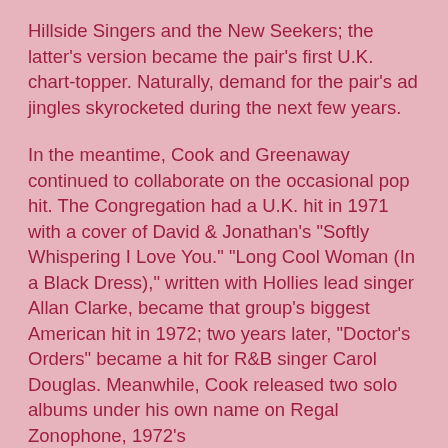Hillside Singers and the New Seekers; the latter's version became the pair's first U.K. chart-topper. Naturally, demand for the pair's ad jingles skyrocketed during the next few years.
In the meantime, Cook and Greenaway continued to collaborate on the occasional pop hit. The Congregation had a U.K. hit in 1971 with a cover of David & Jonathan's "Softly Whispering I Love You." "Long Cool Woman (In a Black Dress)," written with Hollies lead singer Allan Clarke, became that group's biggest American hit in 1972; two years later, "Doctor's Orders" became a hit for R&B singer Carol Douglas. Meanwhile, Cook released two solo albums under his own name on Regal Zonophone, 1972's
Meanwhile Back at the World and 1973's Minstrel in Flight. By late 1975, Cook had split amicably from Greenaway, and moved to the United States. He drifted through New York and Los Angeles before settling in Nashville, where he completed the solo album Alright in 1976. Moving into country territory, Cook scored a breakthrough with Crystal Gayle's 1978 chart-topper "Talking in Your Sleep," written